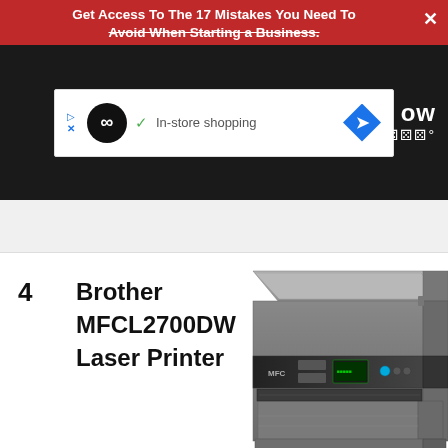Get Access To The 17 Mistakes You Need To Avoid When Starting a Business.
[Figure (screenshot): Advertisement box with infinity loop logo, checkmark, In-store shopping text, and blue diamond arrow icon]
4   Brother MFCL2700DW Laser Printer
[Figure (photo): Brother MFCL2700DW Laser Printer - gray multifunction laser printer shown at an angle]